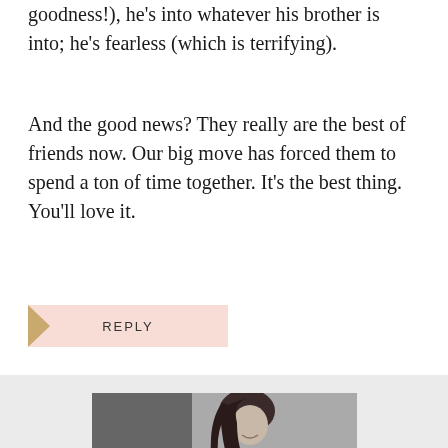goodness!), he's into whatever his brother is into; he's fearless (which is terrifying).
And the good news? They really are the best of friends now. Our big move has forced them to spend a ton of time together. It's the best thing. You'll love it.
REPLY
[Figure (photo): Black and white photo of a woman with long dark hair, smiling, shown from shoulders up against a light background.]